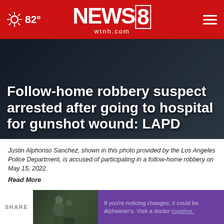82° NEWS 8 wtnh.com
Follow-home robbery suspect arrested after going to hospital for gunshot wound: LAPD
Justin Alphonso Sanchez, shown in this photo provided by the Los Angeles Police Department, is accused of participating in a follow-home robbery on May 15, 2022.
Read More
by: Cameron Kiszla, Nexstar Media Wire
Posted: May 19, 2022 / 10:47 AM EDT
Updated: May 19, 2022 / 10:47 AM EDT
SHARE
[Figure (photo): Advertisement banner showing two men and Alzheimer's awareness message: If you're noticing changes, it could be Alzheimer's. Visit a doctor together.]